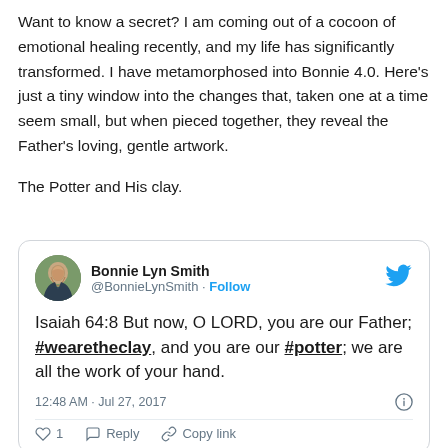Want to know a secret? I am coming out of a cocoon of emotional healing recently, and my life has significantly transformed. I have metamorphosed into Bonnie 4.0. Here's just a tiny window into the changes that, taken one at a time seem small, but when pieced together, they reveal the Father's loving, gentle artwork.

The Potter and His clay.
[Figure (screenshot): Embedded tweet from @BonnieLynSmith showing Isaiah 64:8 quote with hashtags #wearetheclay and #potter, dated 12:48 AM · Jul 27, 2017, with 1 like, Reply and Copy link actions.]